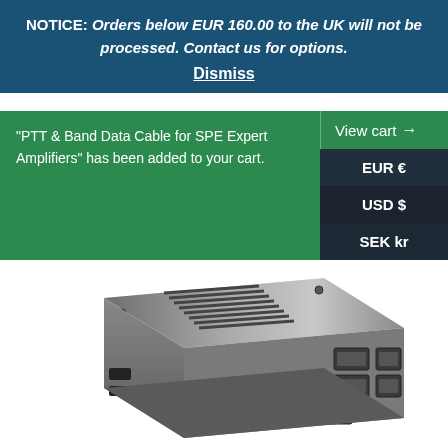NOTICE: Orders below EUR 160.00 to the UK will not be processed. Contact us for options. Dismiss
"PTT & Band Data Cable for SPE Expert Amplifiers" has been added to your cart. View cart → EUR € USD $ SEK kr
[Figure (photo): Raspberry Pi in a metallic aluminum case with ventilation slots, USB ports, and Ethernet port visible on the right side]